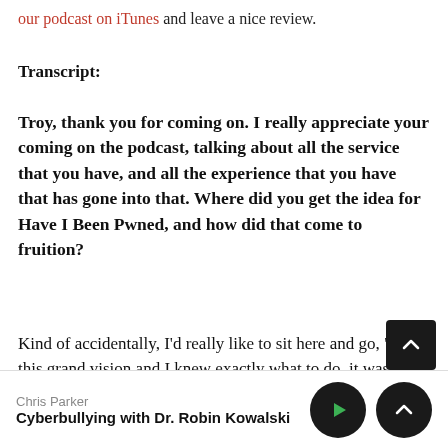our podcast on iTunes and leave a nice review.
Transcript:
Troy, thank you for coming on. I really appreciate your coming on the podcast, talking about all the service that you have, and all the experience that you have that has gone into that. Where did you get the idea for Have I Been Pwned, and how did that come to fruition?
Kind of accidentally, I'd really like to sit here and go, "I had this grand vision and I knew exactly what to do, it was all a masterplan." But it was very accidental and organic. I remember in late 2013 I'd been doing a lot of writing about
Chris Parker
Cyberbullying with Dr. Robin Kowalski